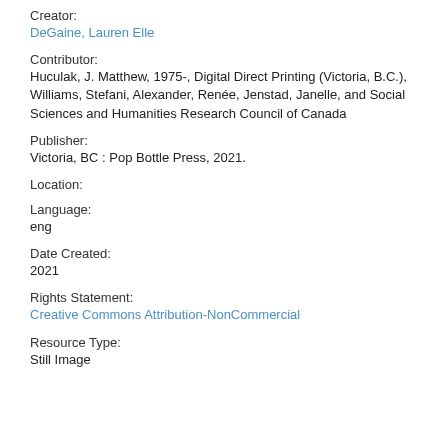Creator:
DeGaine, Lauren Elle
Contributor:
Huculak, J. Matthew, 1975-, Digital Direct Printing (Victoria, B.C.), Williams, Stefani, Alexander, Renée, Jenstad, Janelle, and Social Sciences and Humanities Research Council of Canada
Publisher:
Victoria, BC : Pop Bottle Press, 2021.
Location:
Language:
eng
Date Created:
2021
Rights Statement:
Creative Commons Attribution-NonCommercial
Resource Type:
Still Image